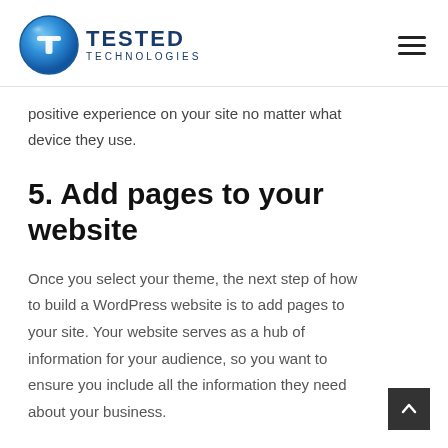TESTED TECHNOLOGIES
positive experience on your site no matter what device they use.
5. Add pages to your website
Once you select your theme, the next step of how to build a WordPress website is to add pages to your site. Your website serves as a hub of information for your audience, so you want to ensure you include all the information they need about your business.